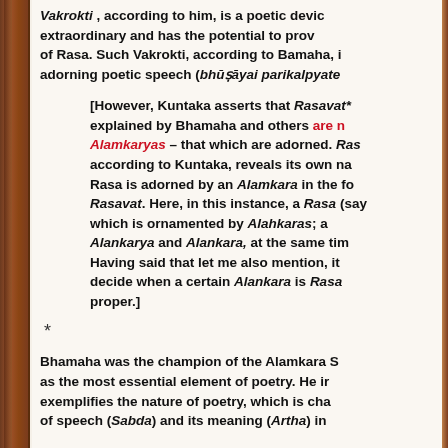Vakrokti , according to him, is  a poetic device that is extraordinary  and  has  the  potential  to  provoke  the emotion of Rasa. Such Vakrokti, according to Bamaha, is meant for adorning poetic speech (bhūṣāyai parikalpyate
[However, Kuntaka  asserts  that  Rasavat* explained  by  Bhamaha  and  others  are not Alamkaryas – that which are adorned. Rasa according  to  Kuntaka,  reveals  its  own  nature. Rasa is adorned by an  Alamkara  in the form of Rasavat. Here, in this instance, a  Rasa (say) which  is  ornamented  by  Alahkaras;  and Alankarya  and  Alankara,  at the same time. Having  said  that  let  me  also  mention,  it  is decide  when  a  certain  Alankara  is  Rasavat proper.]
*
Bhamaha was the champion of the Alamkara School as  the  most  essential  element  of  poetry.  He  in exemplifies  the  nature  of  poetry,  which  is  cha of speech (Sabda) and its meaning (Artha) in